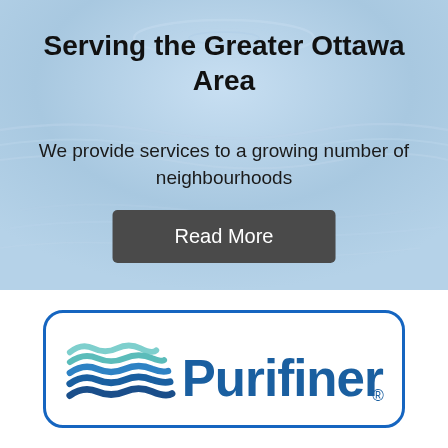Serving the Greater Ottawa Area
We provide services to a growing number of neighbourhoods
Read More
[Figure (logo): Purifiner logo with blue wave stripes and blue rounded rectangle border]